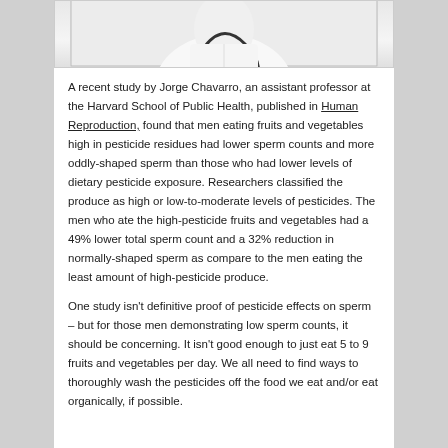[Figure (photo): Partial photo of a person, likely a doctor or patient, in white clothing, cropped at the top of the page.]
A recent study by Jorge Chavarro, an assistant professor at the Harvard School of Public Health, published in Human Reproduction, found that men eating fruits and vegetables high in pesticide residues had lower sperm counts and more oddly-shaped sperm than those who had lower levels of dietary pesticide exposure.  Researchers classified the produce as high or low-to-moderate levels of pesticides.  The men who ate the high-pesticide fruits and vegetables had a 49% lower total sperm count and a 32% reduction in normally-shaped sperm as compare to the men eating the least amount of high-pesticide produce.
One study isn't definitive proof of pesticide effects on sperm – but for those men demonstrating low sperm counts, it should be concerning.  It isn't good enough to just eat 5 to 9 fruits and vegetables per day.  We all need to find ways to thoroughly wash the pesticides off the food we eat and/or eat organically, if possible.